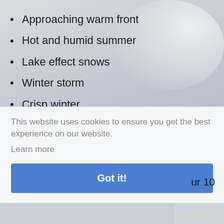Approaching warm front
Hot and humid summer
Lake effect snows
Winter storm
Crisp winter
Breezy
Spring showers
( can
.l be
eed to
This website uses cookies to ensure you get the best experience on our website.
Learn more
Got it!
ur 10